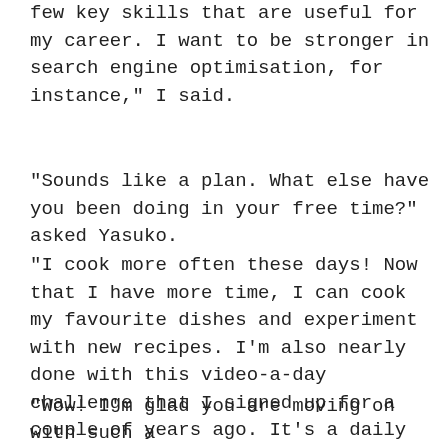few key skills that are useful for my career. I want to be stronger in search engine optimisation, for instance," I said.
"Sounds like a plan. What else have you been doing in your free time?" asked Yasuko.
"I cook more often these days! Now that I have more time, I can cook my favourite dishes and experiment with new recipes. I'm also nearly done with this video-a-day challenge that I signed up for a couple of years ago. It's a daily practice that I do to get used to speaking in front of the camera. The goal is to publish 365 videos on any topic. I haven't always been consistent about it, but now I have about 20 more videos to go."
"Wow! I'm glad you are moving on with such a